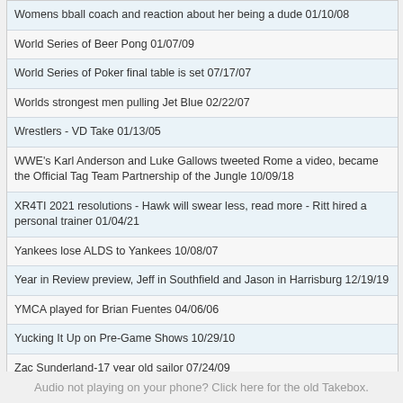Womens bball coach and reaction about her being a dude 01/10/08
World Series of Beer Pong 01/07/09
World Series of Poker final table is set 07/17/07
Worlds strongest men pulling Jet Blue 02/22/07
Wrestlers - VD Take 01/13/05
WWE's Karl Anderson and Luke Gallows tweeted Rome a video, became the Official Tag Team Partnership of the Jungle 10/09/18
XR4TI 2021 resolutions - Hawk will swear less, read more - Ritt hired a personal trainer 01/04/21
Yankees lose ALDS to Yankees 10/08/07
Year in Review preview, Jeff in Southfield and Jason in Harrisburg 12/19/19
YMCA played for Brian Fuentes 04/06/06
Yucking It Up on Pre-Game Shows 10/29/10
Zac Sunderland-17 year old sailor 07/24/09
Zach Johnson backswing distraction alternatives, bagpipes, Beatles music, Yoko screaming 07/17/15
Zack Smith had sex toys shipped to his office 08/20/18
Zambrano breaks bat over knee 04/26/06
Zidanes Mom 07/12/06
Audio not playing on your phone? Click here for the old Takebox.